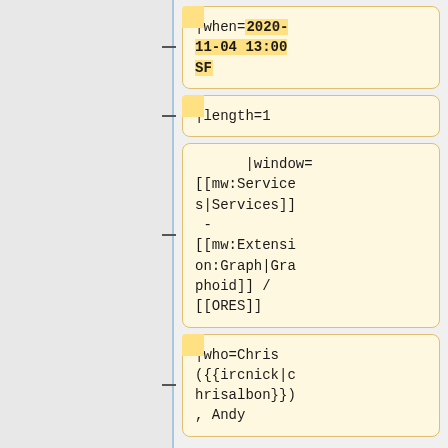|when=2020-11-04 13:00 SF
|length=1
|window=[[mw:Services|Services]] - [[mw:Extension:Graph|Graphoid]] / [[ORES]]
|who=Chris ({{ircnick|chrisalbon}}), Andy